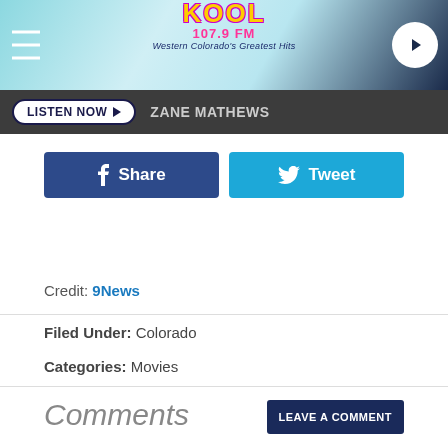KOOL 107.9 FM — Western Colorado's Greatest Hits
LISTEN NOW ▶ ZANE MATHEWS
[Figure (other): Facebook Share button and Twitter Tweet button]
Credit: 9News
Filed Under: Colorado
Categories: Movies
Comments
LEAVE A COMMENT